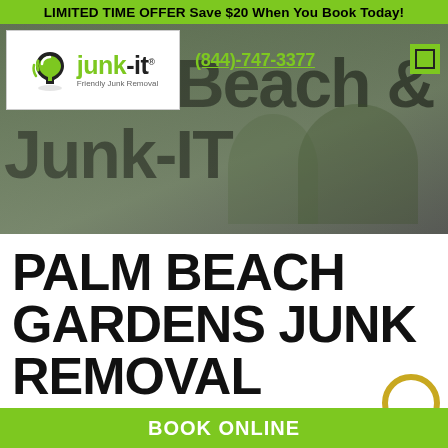LIMITED TIME OFFER Save $20 When You Book Today!
[Figure (screenshot): Hero banner with Junk-IT logo, phone number (844)-747-3377, and two workers in green shirts removing items. Large bold text reads 'Palm Beach' and 'Junk-IT' in the background.]
PALM BEACH GARDENS JUNK REMOVAL
Picture this. Your schedule's been busy and you've been…
BOOK ONLINE